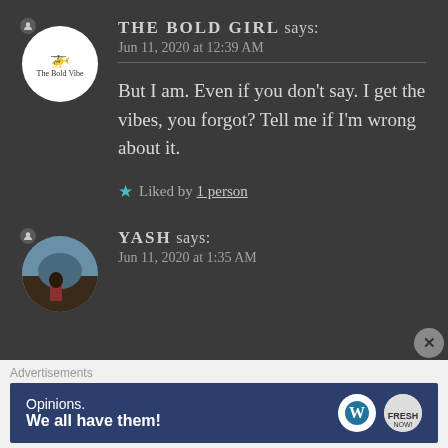THE BOLD GIRL says: Jun 11, 2020 at 12:39 AM
But I am. Even if you don't say. I get the vibes, you forgot? Tell me if I'm wrong about it.
★ Liked by 1 person
YASH says: Jun 11, 2020 at 1:35 AM
[Figure (screenshot): Advertisement banner: 'Opinions. We all have them!' with WordPress and another logo on dark blue background]
Advertisements